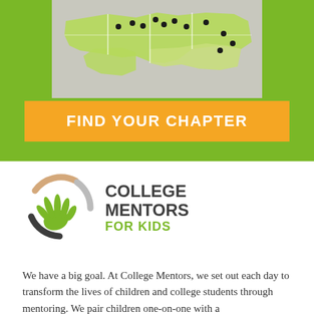[Figure (map): A geographic map showing a region with green highlighted states/areas and black dot markers indicating chapter locations.]
FIND YOUR CHAPTER
[Figure (logo): College Mentors for Kids logo — circular arc design in green, tan/peach, and dark gray with green hand/finger shapes inside, next to bold text reading COLLEGE MENTORS FOR KIDS.]
We have a big goal. At College Mentors, we set out each day to transform the lives of children and college students through mentoring. We pair children one-on-one with a